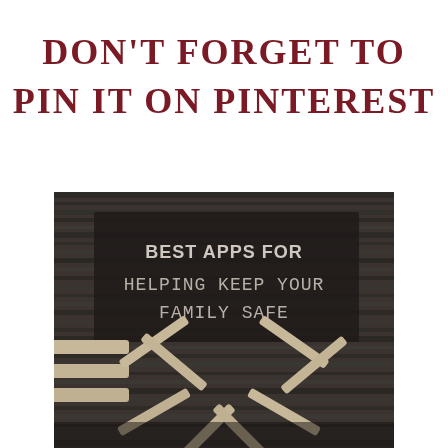DON'T FORGET TO PIN IT ON PINTEREST
[Figure (illustration): A dark wooden board background with scattered wooden sticks/matches arranged around a dark semi-transparent overlay panel containing the text 'BEST APPS FOR HELPING KEEP YOUR FAMILY SAFE' in white/beige lettering.]